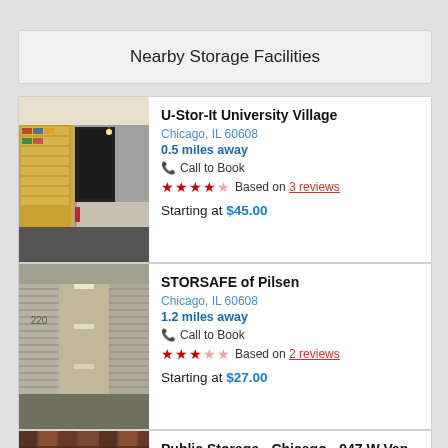Nearby Storage Facilities
U-Stor-It University Village
Chicago, IL 60608
0.5 miles away
Call to Book
★★★★☆ Based on 3 reviews
Starting at $45.00
STORSAFE of Pilsen
Chicago, IL 60608
1.2 miles away
Call to Book
★★★☆☆ Based on 2 reviews
Starting at $27.00
Public Storage - Chicago - 947 W Van ...
Chicago, IL 60607
1.4 miles away
Call to Book